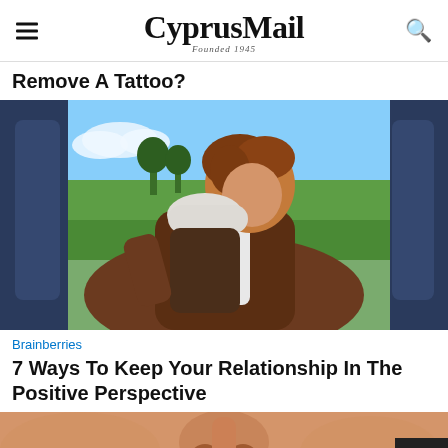CyprusMail — Founded 1945
Remove A Tattoo?
[Figure (photo): Two people kissing inside a car, viewed from the back seat. Green fields visible through the window.]
Brainberries
7 Ways To Keep Your Relationship In The Positive Perspective
[Figure (photo): Close-up photo of a person's face, nose and lips visible, partially cropped at bottom of page.]